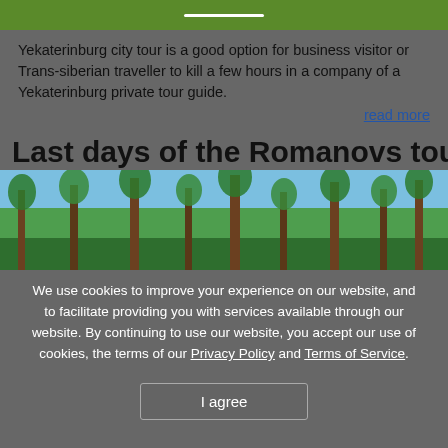[Figure (other): Green banner with white horizontal line in center]
Yekaterinburg city tour is a good option for business visitor or Trans-siberian traveller to kill a few hours in a company of a Yekaterinburg private tour guide.
read more
Last days of the Romanovs tour
[Figure (photo): Forest photo with tall pine trees and blue sky]
We use cookies to improve your experience on our website, and to facilitate providing you with services available through our website. By continuing to use our website, you accept our use of cookies, the terms of our Privacy Policy and Terms of Service.
I agree